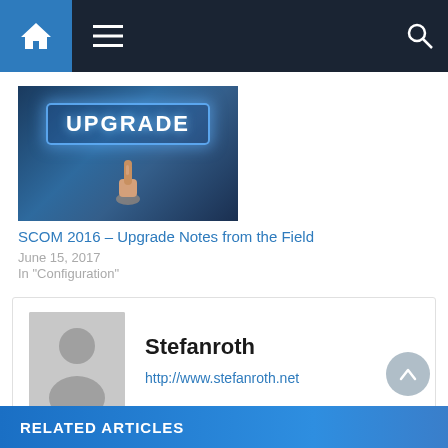[Figure (screenshot): Website navigation bar with home icon, hamburger menu, and search icon on dark background]
[Figure (photo): UPGRADE button with finger pointing at it on blue background]
SCOM 2016 – Upgrade Notes from the Field
June 15, 2017
In "Configuration"
Stefanroth
http://www.stefanroth.net
RELATED ARTICLES